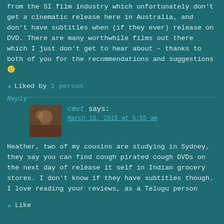from the SI film industry which unfortunately don't get a cinematic release here in Australia, and don't have subtitles when (if they ever) release on DVD. There are many worthwhile films out there which I just don't get to hear about – thanks to both of you for the recommendations and suggestions 🙂
★ Liked by 1 person
Reply
cmvt says:
March 16, 2015 at 5:55 am
Heather, two of my cousins are studying in Sydney, they say you can find cough pirated cough DVDs on the next day of release it self in Indian grocery stores. I don't know if they have subtitles though.
I love reading your reviews, as a Telugu person
★ Like